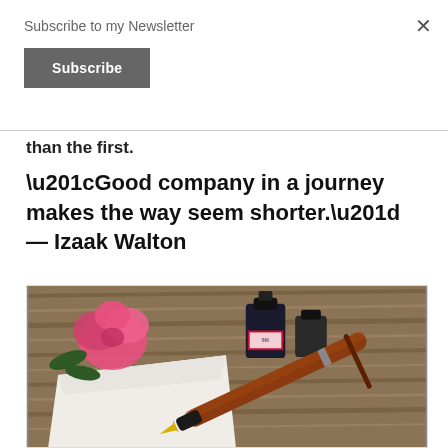Subscribe to my Newsletter
Subscribe
than the first.
“Good company in a journey makes the way seem shorter.” — Izaak Walton
[Figure (photo): A fountain pen resting on white paper beside a pink rose and ink bottles on a wooden surface]